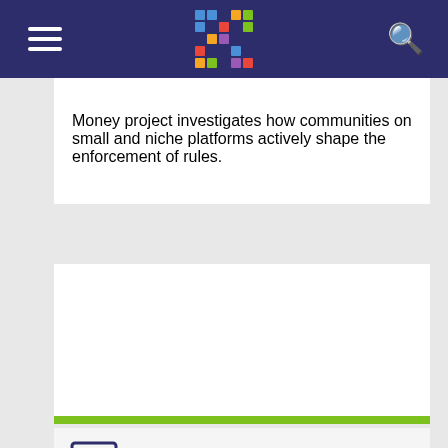navigation bar with logo, hamburger menu, and search icon
Money project investigates how communities on small and niche platforms actively shape the enforcement of rules.
[Figure (other): White rectangular placeholder area for embedded video content with a green bar at the bottom]
DFG-Project